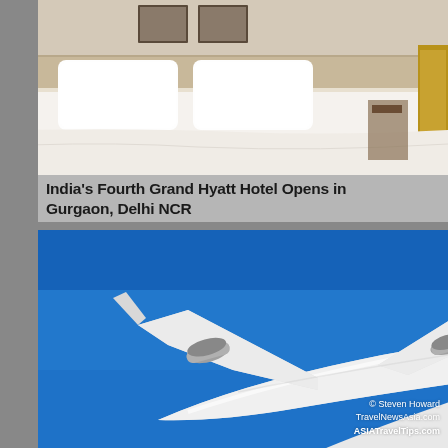[Figure (photo): Hotel room with white bed linens and pillows, Grand Hyatt hotel room interior]
India's Fourth Grand Hyatt Hotel Opens in Gurgaon, Delhi NCR
[Figure (photo): White commercial airplane photographed from below against bright blue sky, with watermark: © Steven Howard TravelNewsAsia.com ASIATravelTips.com]